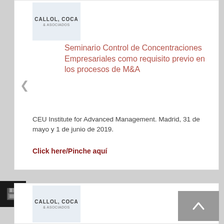[Figure (logo): Callol, Coca & Asociados law firm logo on light blue background]
Seminario Control de Concentraciones Empresariales como requisito previo en los procesos de M&A
CEU Institute for Advanced Management. Madrid, 31 de mayo y 1 de junio de 2019.
Click here/Pinche aquí
[Figure (logo): Callol, Coca & Asociados law firm logo on light blue background (second instance)]